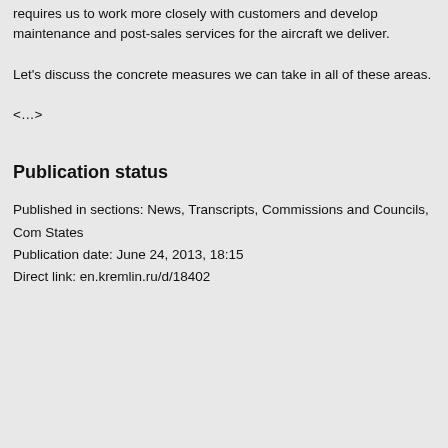requires us to work more closely with customers and develop maintenance and post-sales services for the aircraft we deliver.
Let's discuss the concrete measures we can take in all of these areas.
<...>
Publication status
Published in sections: News, Transcripts, Commissions and Councils, Com... States
Publication date: June 24, 2013, 18:15
Direct link: en.kremlin.ru/d/18402